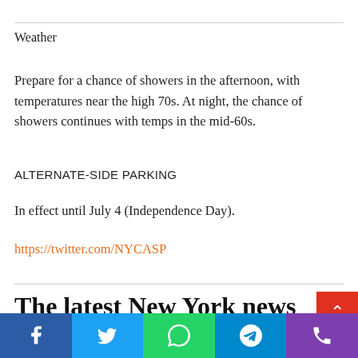Weather
Prepare for a chance of showers in the afternoon, with temperatures near the high 70s. At night, the chance of showers continues with temps in the mid-60s.
ALTERNATE-SIDE PARKING
In effect until July 4 (Independence Day).
https://twitter.com/NYCASP
The latest New York news